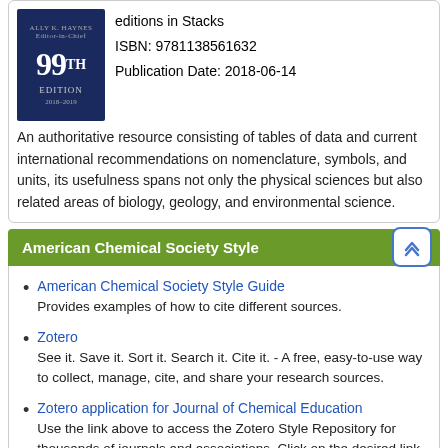[Figure (photo): Book cover of 99th Edition, dark blue background with white text]
editions in Stacks
ISBN: 9781138561632
Publication Date: 2018-06-14
An authoritative resource consisting of tables of data and current international recommendations on nomenclature, symbols, and units, its usefulness spans not only the physical sciences but also related areas of biology, geology, and environmental science.
American Chemical Society Style
American Chemical Society Style Guide
Provides examples of how to cite different sources.
Zotero
See it. Save it. Sort it. Search it. Cite it. - A free, easy-to-use way to collect, manage, cite, and share your research sources.
Zotero application for Journal of Chemical Education
Use the link above to access the Zotero Style Repository for thousands of journals and associations. Click on the desired link to download into your Zotero application.